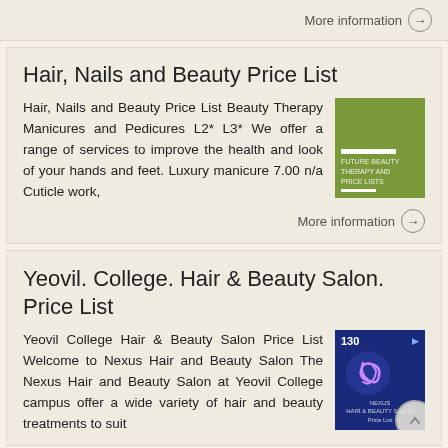More information →
Hair, Nails and Beauty Price List
Hair, Nails and Beauty Price List Beauty Therapy Manicures and Pedicures L2* L3* We offer a range of services to improve the health and look of your hands and feet. Luxury manicure 7.00 n/a Cuticle work,
[Figure (illustration): Green thumbnail image for Hair, Nails and Beauty Price List with white bars and small text]
More information →
Yeovil. College. Hair & Beauty Salon. Price List
Yeovil College Hair & Beauty Salon Price List Welcome to Nexus Hair and Beauty Salon The Nexus Hair and Beauty Salon at Yeovil College campus offer a wide variety of hair and beauty treatments to suit
[Figure (illustration): Dark blue thumbnail showing number 130 and a swirl/logo for Yeovil College Nexus Hair and Beauty Salon price list]